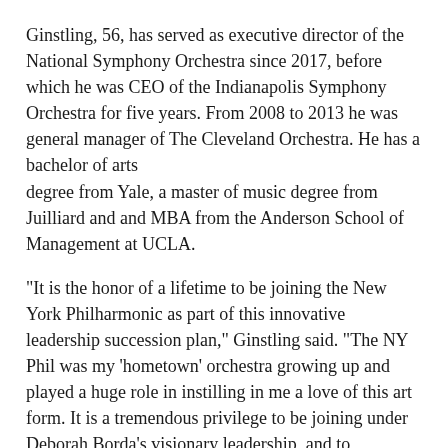Ginstling, 56, has served as executive director of the National Symphony Orchestra since 2017, before which he was CEO of the Indianapolis Symphony Orchestra for five years. From 2008 to 2013 he was general manager of The Cleveland Orchestra. He has a bachelor of arts degree from Yale, a master of music degree from Juilliard and and MBA from the Anderson School of Management at UCLA.
"It is the honor of a lifetime to be joining the New York Philharmonic as part of this innovative leadership succession plan," Ginstling said. "The NY Phil was my ‘hometown’ orchestra growing up and played a huge role in instilling in me a love of this art form. It is a tremendous privilege to be joining under Deborah Borda’s visionary leadership, and to transition into the President and CEO role next summer. The Philharmonic’s future has never looked brighter with the reopening of David Geffen Hall, and I cannot wait to be a part of it."
You might also like: